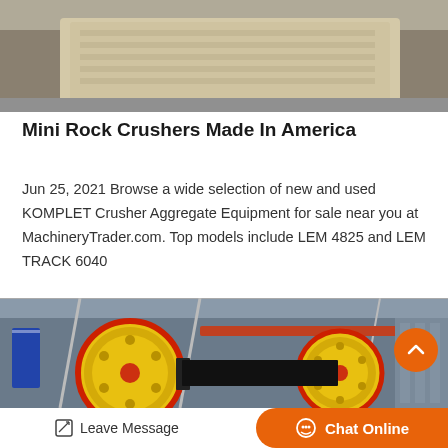[Figure (photo): Top partial view of industrial crushing equipment (beige/tan colored jaw crusher body on concrete floor)]
Mini Rock Crushers Made In America
Jun 25, 2021 Browse a wide selection of new and used KOMPLET Crusher Aggregate Equipment for sale near you at MachineryTrader.com. Top models include LEM 4825 and LEM TRACK 6040
[Figure (photo): Industrial factory interior showing large yellow and red flywheel/pulley assemblies of jaw crusher machinery, with steel structure and blue banners in background]
Leave Message
Chat Online